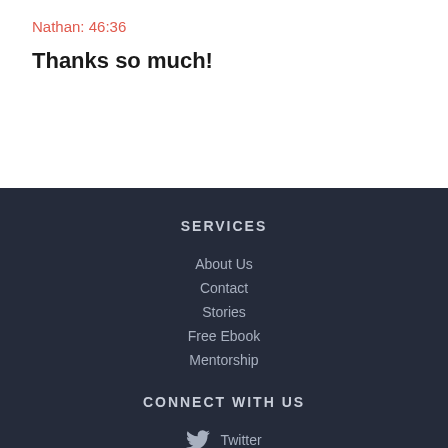Nathan: 46:36
Thanks so much!
SERVICES
About Us
Contact
Stories
Free Ebook
Mentorship
CONNECT WITH US
Twitter
Facebook